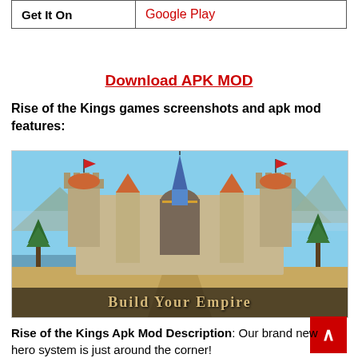| Get It On | Google Play |
Download APK MOD
Rise of the Kings games screenshots and apk mod features:
[Figure (screenshot): Rise of the Kings game screenshot showing a medieval castle city with text 'Build Your Empire' at the bottom]
Rise of the Kings Apk Mod Description: Our brand new hero system is just around the corner!